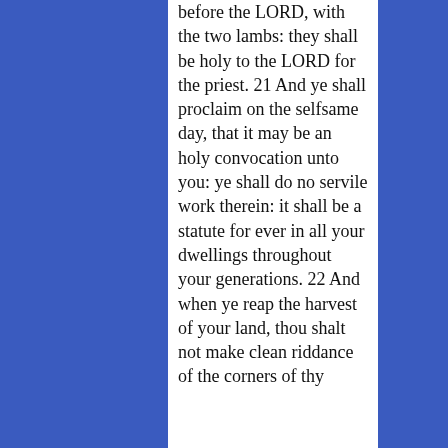before the LORD, with the two lambs: they shall be holy to the LORD for the priest. 21 And ye shall proclaim on the selfsame day, that it may be an holy convocation unto you: ye shall do no servile work therein: it shall be a statute for ever in all your dwellings throughout your generations. 22 And when ye reap the harvest of your land, thou shalt not make clean riddance of the corners of thy